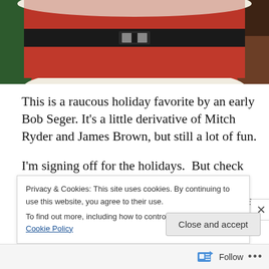[Figure (photo): Cropped screenshot of an animated Santa Claus character in a red suit with white trim and black belt, standing against a dark background]
This is a raucous holiday favorite by an early Bob Seger. It's a little derivative of Mitch Ryder and James Brown, but still a lot of fun.
I'm signing off for the holidays.  But check back every once in a while …  You never know when Dave may get strange during the next week and a half.  Please take care and have a terrific and safe holiday and New Year!
Privacy & Cookies: This site uses cookies. By continuing to use this website, you agree to their use.
To find out more, including how to control cookies, see here: Cookie Policy
Follow ...